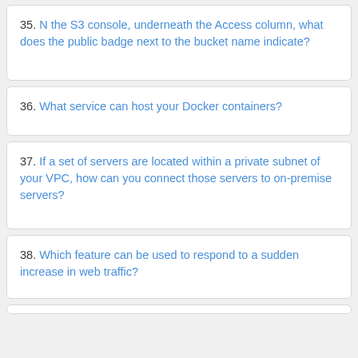35. N the S3 console, underneath the Access column, what does the public badge next to the bucket name indicate?
36. What service can host your Docker containers?
37. If a set of servers are located within a private subnet of your VPC, how can you connect those servers to on-premise servers?
38. Which feature can be used to respond to a sudden increase in web traffic?